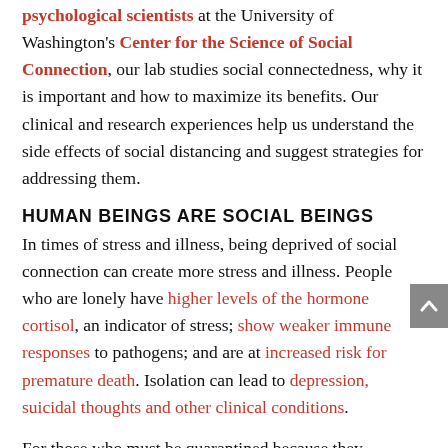psychological scientists at the University of Washington's Center for the Science of Social Connection, our lab studies social connectedness, why it is important and how to maximize its benefits. Our clinical and research experiences help us understand the side effects of social distancing and suggest strategies for addressing them.
HUMAN BEINGS ARE SOCIAL BEINGS
In times of stress and illness, being deprived of social connection can create more stress and illness. People who are lonely have higher levels of the hormone cortisol, an indicator of stress; show weaker immune responses to pathogens; and are at increased risk for premature death. Isolation can lead to depression, suicidal thoughts and other clinical conditions.
For those who must be quarantined because they